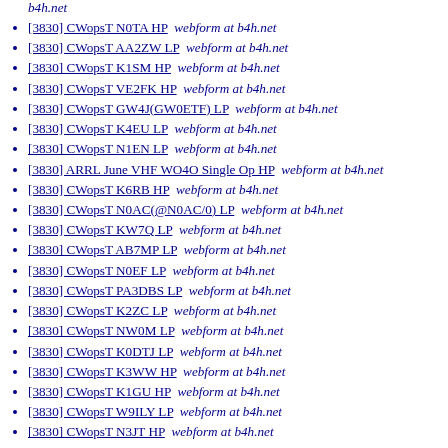b4h.net
[3830] CWopsT N0TA HP  webform at b4h.net
[3830] CWopsT AA2ZW LP  webform at b4h.net
[3830] CWopsT K1SM HP  webform at b4h.net
[3830] CWopsT VE2FK HP  webform at b4h.net
[3830] CWopsT GW4J(GW0ETF) LP  webform at b4h.net
[3830] CWopsT K4EU LP  webform at b4h.net
[3830] CWopsT N1EN LP  webform at b4h.net
[3830] ARRL June VHF WO4O Single Op HP  webform at b4h.net
[3830] CWopsT K6RB HP  webform at b4h.net
[3830] CWopsT N0AC(@N0AC/0) LP  webform at b4h.net
[3830] CWopsT KW7Q LP  webform at b4h.net
[3830] CWopsT AB7MP LP  webform at b4h.net
[3830] CWopsT N0EF LP  webform at b4h.net
[3830] CWopsT PA3DBS LP  webform at b4h.net
[3830] CWopsT K2ZC LP  webform at b4h.net
[3830] CWopsT NW0M LP  webform at b4h.net
[3830] CWopsT K0DTJ LP  webform at b4h.net
[3830] CWopsT K3WW HP  webform at b4h.net
[3830] CWopsT K1GU HP  webform at b4h.net
[3830] CWopsT W9ILY LP  webform at b4h.net
[3830] CWopsT N3JT HP  webform at b4h.net
[3830] CWopsT N5ZO HP  webform at b4h.net
[3830] CWopsT W7ZRC LP  webform at b4h.net
[3830] CWopsT ...